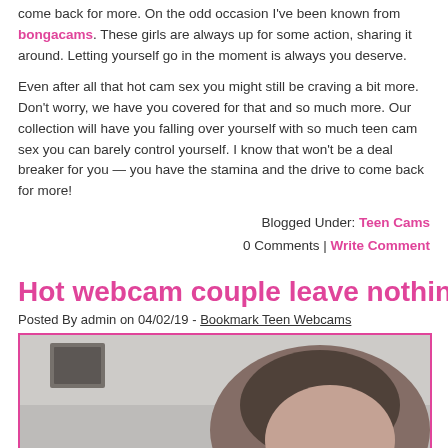come back for more. On the odd occasion I've been known from bongacams. These girls are always up for some action, sharing it around. Letting yourself go in the moment is always you deserve.
Even after all that hot cam sex you might still be craving a bit more. Don't worry, we have you covered for that and so much more. Our collection will have you falling over yourself with so much teen cam sex you can barely control yourself. I know that won't be a deal breaker for you — you have the stamina and the drive to come back for more!
Blogged Under: Teen Cams
0 Comments | Write Comment
Hot webcam couple leave nothing to c
Posted By admin on 04/02/19 - Bookmark Teen Webcams
[Figure (photo): Blurred thumbnail image of a person's face/head, dark hair, indoor setting with a picture frame visible in the background.]